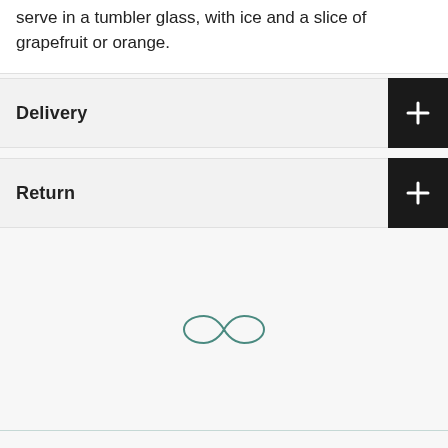serve in a tumbler glass, with ice and a slice of grapefruit or orange.
Delivery
Return
[Figure (illustration): An infinity symbol (∞) drawn in a thin teal/dark-green outline style, centered on the lower portion of the page.]